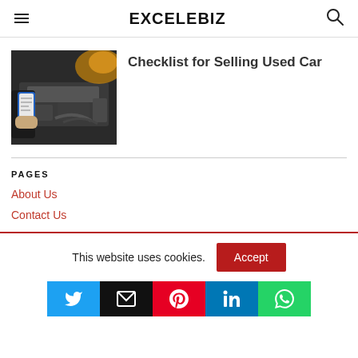EXCELEBIZ
[Figure (photo): Person holding a clipboard inspecting a car engine under the hood]
Checklist for Selling Used Car
PAGES
About Us
Contact Us
This website uses cookies.
[Figure (infographic): Social share buttons: Twitter, Email, Pinterest, LinkedIn, WhatsApp]